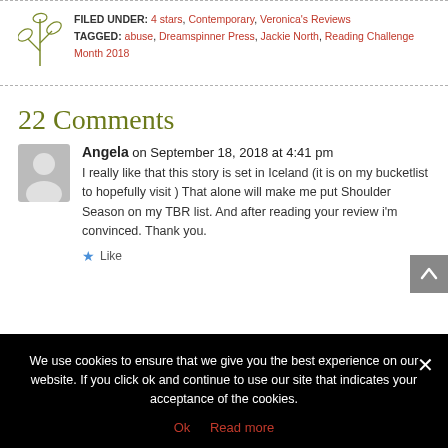FILED UNDER: 4 stars, Contemporary, Veronica's Reviews TAGGED: abuse, Dreamspinner Press, Jackie North, Reading Challenge Month 2018
22 Comments
Angela on September 18, 2018 at 4:41 pm
I really like that this story is set in Iceland (it is on my bucketlist to hopefully visit ) That alone will make me put Shoulder Season on my TBR list. And after reading your review i'm convinced. Thank you.
Like
We use cookies to ensure that we give you the best experience on our website. If you click ok and continue to use our site that indicates your acceptance of the cookies. Ok  Read more